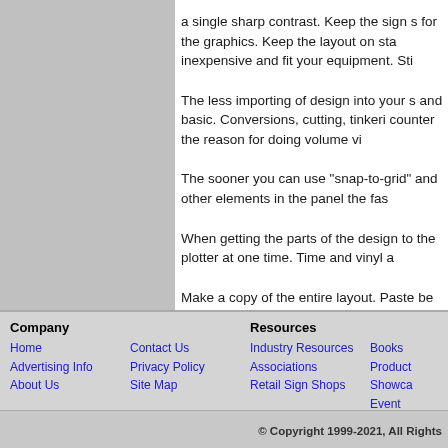a single sharp contrast. Keep the sign s for the graphics. Keep the layout on sta inexpensive and fit your equipment. Sti
The less importing of design into your s and basic. Conversions, cutting, tinkeri counter the reason for doing volume vi
The sooner you can use "snap-to-grid" and other elements in the panel the fas
When getting the parts of the design to the plotter at one time. Time and vinyl a
Make a copy of the entire layout. Paste be created from the new image.
Company
Resources
Home
Contact Us
Industry Resources
Books
Advertising Info
Privacy Policy
Associations
Product Showcase
About Us
Site Map
Retail Sign Shops
Event Calendar
© Copyright 1999-2021, All Rights